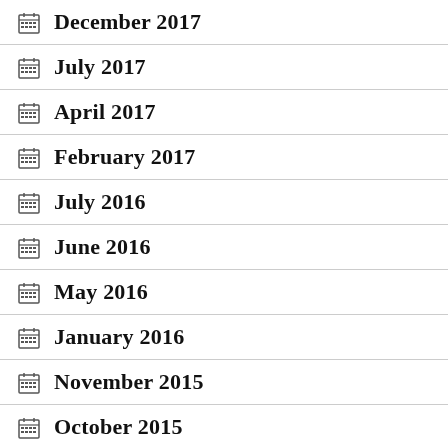December 2017
July 2017
April 2017
February 2017
July 2016
June 2016
May 2016
January 2016
November 2015
October 2015